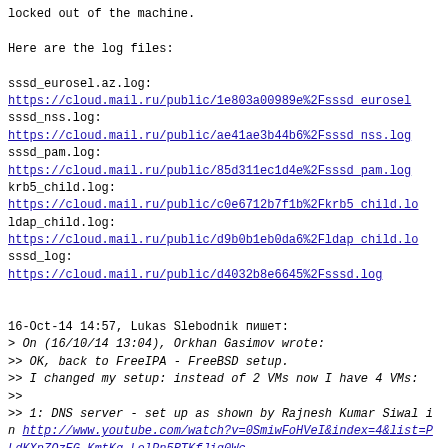locked out of the machine.
Here are the log files:
sssd_eurosel.az.log:
https://cloud.mail.ru/public/1e803a00989e%2Fsssd_eurosel
sssd_nss.log:
https://cloud.mail.ru/public/ae41ae3b44b6%2Fsssd_nss.log
sssd_pam.log:
https://cloud.mail.ru/public/85d311ec1d4e%2Fsssd_pam.log
krb5_child.log:
https://cloud.mail.ru/public/c0e6712b7f1b%2Fkrb5_child.lo
ldap_child.log:
https://cloud.mail.ru/public/d9b0b1eb0da6%2Fldap_child.lo
sssd_log:
https://cloud.mail.ru/public/d4032b8e6645%2Fsssd.log
16-Oct-14 14:57, Lukas Slebodnik пишет:
> On (16/10/14 13:04), Orkhan Gasimov wrote:
>> OK, back to FreeIPA - FreeBSD setup.
>> I changed my setup: instead of 2 VMs now I have 4 VMs:
>>
>> 1: DNS server - set up as shown by Rajnesh Kumar Siwal in http://www.youtube.com/watch?v=0SmiwFoHVeI&index=4&list=PLdKXnZQzEG-KmtKq-LelPn5RTKfJig0Wc
>>
>> 2 and 3: IPA server & IPA linux client - set up as